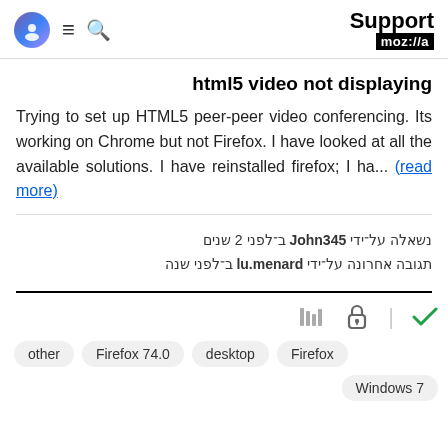Support moz://a
html5 video not displaying
Trying to set up HTML5 peer-peer video conferencing. Its working on Chrome but not Firefox. I have looked at all the available solutions. I have reinstalled firefox; I ha... (read more)
נשאלה על־ידי John345 ב־לפני 2 שנים
תגובה אחרונה על־ידי lu.menard ב־לפני שנה
[Figure (other): Icons: library bars, lock, and green checkmark]
other
Firefox 74.0
desktop
Firefox
Windows 7